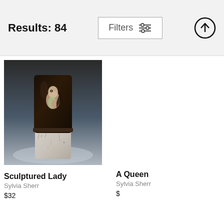Results: 84
Filters
[Figure (photo): Ceramic sculptured lady artwork - a tall dark glazed ceramic bottle/vase with a painted figure on a rough white clay base]
Sculptured Lady
Sylvia Sherr
$32
A Queen
Sylvia Sherr
$